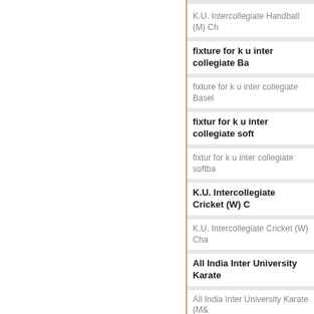K.U. Intercollegiate Handball (M) Ch…
fixture for k u inter collegiate Ba…
fixture for k u inter collegiate Base…
fixtur for k u inter collegiate soft…
fixtur for k u inter collegiate softba…
K.U. Intercollegiate Cricket (W) C…
K.U. Intercollegiate Cricket (W) Cha…
All India Inter University Karate …
All India Inter University Karate (M&…
Notification regarding opening c…